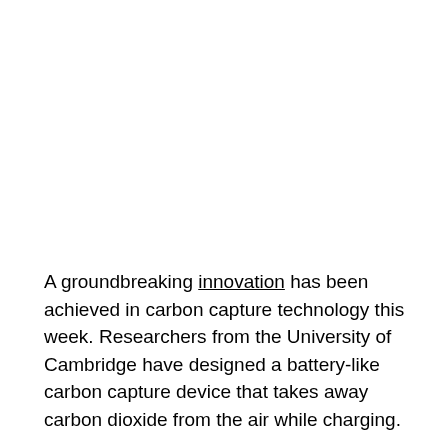A groundbreaking innovation has been achieved in carbon capture technology this week. Researchers from the University of Cambridge have designed a battery-like carbon capture device that takes away carbon dioxide from the air while charging.
The researchers have developed a low-cost device that